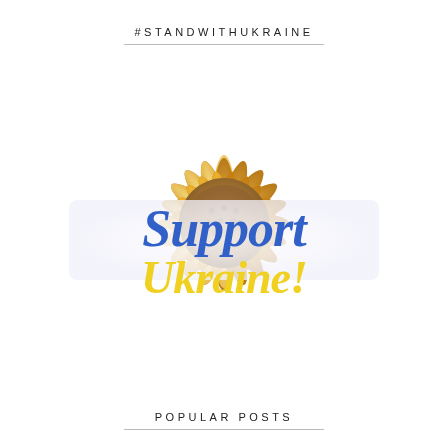#STANDWITHUKRAINE
[Figure (illustration): A large yellow sunflower with golden petals, centered on the page. Over the flower is a semi-transparent white horizontal banner with the text 'Support Ukraine!' — 'Support' in bold blue serif italic lettering and 'Ukraine!' in bold yellow serif italic lettering.]
POPULAR POSTS